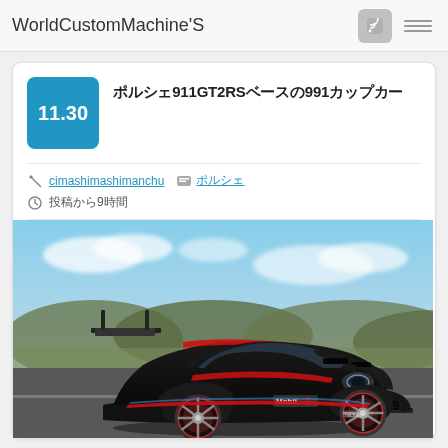WorldCustomMachine'S
11.30
ポルシェ911GT2RSベースの991カップカー
cimashimashimanchu  ポルシェ
投稿から9時間
[Figure (photo): Black and red Porsche 911 GT2 RS race car with Mobil 1 and Michelin livery on a track road, dramatic low angle shot with cloudy sky and hills in background]